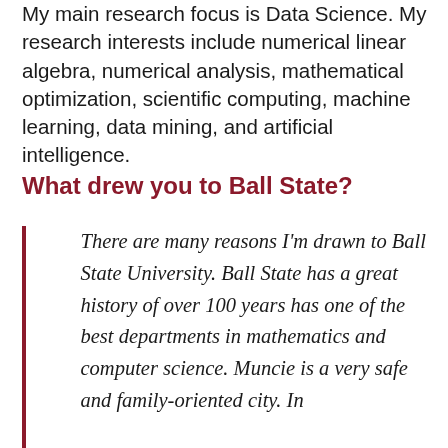My main research focus is Data Science. My research interests include numerical linear algebra, numerical analysis, mathematical optimization, scientific computing, machine learning, data mining, and artificial intelligence.
What drew you to Ball State?
There are many reasons I'm drawn to Ball State University. Ball State has a great history of over 100 years has one of the best departments in mathematics and computer science. Muncie is a very safe and family-oriented city. In